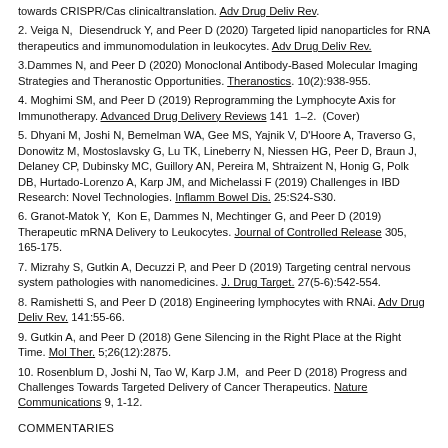towards CRISPR/Cas clinicaltranslation. Adv Drug Deliv Rev.
2. Veiga N, Diesendruck Y, and Peer D (2020) Targeted lipid nanoparticles for RNA therapeutics and immunomodulation in leukocytes. Adv Drug Deliv Rev.
3.Dammes N, and Peer D (2020) Monoclonal Antibody-Based Molecular Imaging Strategies and Theranostic Opportunities. Theranostics. 10(2):938-955.
4. Moghimi SM, and Peer D (2019) Reprogramming the Lymphocyte Axis for Immunotherapy. Advanced Drug Delivery Reviews 141 1–2. (Cover)
5. Dhyani M, Joshi N, Bemelman WA, Gee MS, Yajnik V, D'Hoore A, Traverso G, Donowitz M, Mostoslavsky G, Lu TK, Lineberry N, Niessen HG, Peer D, Braun J, Delaney CP, Dubinsky MC, Guillory AN, Pereira M, Shtraizent N, Honig G, Polk DB, Hurtado-Lorenzo A, Karp JM, and Michelassi F (2019) Challenges in IBD Research: Novel Technologies. Inflamm Bowel Dis. 25:S24-S30.
6. Granot-Matok Y, Kon E, Dammes N, Mechtinger G, and Peer D (2019) Therapeutic mRNA Delivery to Leukocytes. Journal of Controlled Release 305, 165-175.
7. Mizrahy S, Gutkin A, Decuzzi P, and Peer D (2019) Targeting central nervous system pathologies with nanomedicines. J. Drug Target. 27(5-6):542-554.
8. Ramishetti S, and Peer D (2018) Engineering lymphocytes with RNAi. Adv Drug Deliv Rev. 141:55-66.
9. Gutkin A, and Peer D (2018) Gene Silencing in the Right Place at the Right Time. Mol Ther. 5;26(12):2875.
10. Rosenblum D, Joshi N, Tao W, Karp J.M, and Peer D (2018) Progress and Challenges Towards Targeted Delivery of Cancer Therapeutics. Nature Communications 9, 1-12.
COMMENTARIES